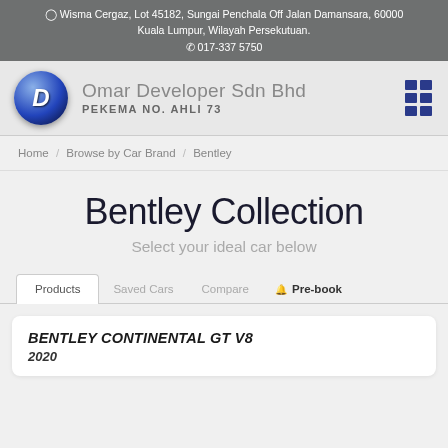Wisma Cergaz, Lot 45182, Sungai Penchala Off Jalan Damansara, 60000 Kuala Lumpur, Wilayah Persekutuan. 017-337 5750
[Figure (logo): Blue spherical D logo for Omar Developer Sdn Bhd]
Omar Developer Sdn Bhd PEKEMA NO. AHLI 73
Home / Browse by Car Brand / Bentley
Bentley Collection
Select your ideal car below
Products  Saved Cars  Compare  Pre-book
BENTLEY CONTINENTAL GT V8
2020